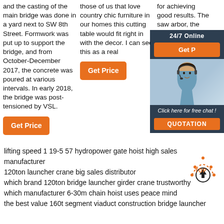and the casting of the main bridge was done in a yard next to SW 8th Street. Formwork was put up to support the bridge, and from October-December 2017, the concrete was poured at various intervals. In early 2018, the bridge was post-tensioned by VSL.
those of us that love country chic furniture in our homes this cutting table would fit right in with the decor. I can see this as a real
for achieving good results. The saw arbor, the saw table and the table fence must be properly aligned to pr
Get Price
Get Price
24/7 Online
Get P
Click here for free chat !
QUOTATION
lifting speed 1 19-5 57 hydropower gate hoist high sales manufacturer
120ton launcher crane big sales distributor
which brand 120ton bridge launcher girder crane trustworthy
which manufacturer 6-30m chain hoist uses peace mind
the best value 160t segment viaduct construction bridge launcher wholesaler